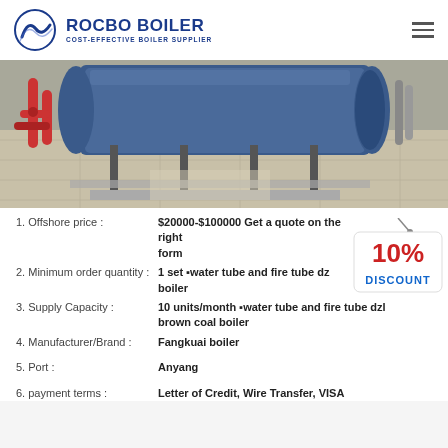[Figure (logo): Rocbo Boiler logo with circular wave icon and text 'ROCBO BOILER - COST-EFFECTIVE BOILER SUPPLIER']
[Figure (photo): Industrial boiler room interior showing blue boiler equipment, pipes including red pipes, metal framework on tiled floor]
[Figure (infographic): 10% DISCOUNT badge/tag in red and blue on white background with string]
1. Offshore price : $20000-$100000 Get a quote on the right form
2. Minimum order quantity : 1 set water tube and fire tube dzl boiler
3. Supply Capacity : 10 units/month water tube and fire tube dzl brown coal boiler
4. Manufacturer/Brand : Fangkuai boiler
5. Port : Anyang
6. payment terms : Letter of Credit, Wire Transfer, VISA